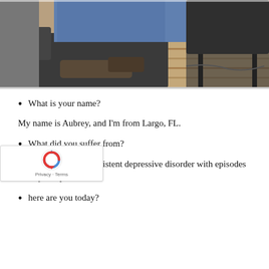[Figure (photo): Photo of a person seated in a dark chair, wearing blue jeans, on a wood-plank floor with another chair visible in the background.]
What is your name?
My name is Aubrey, and I'm from Largo, FL.
What did you suffer from?
I suffered from the persistent depressive disorder with episodes of major depression.
here are you today?